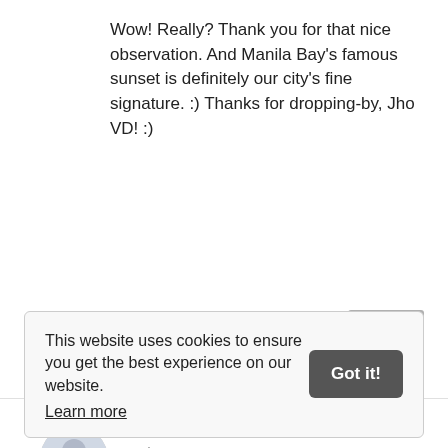Wow! Really? Thank you for that nice observation. And Manila Bay's famous sunset is definitely our city's fine signature. :) Thanks for dropping-by, Jho VD! :)
Reply
BUDGET BIYAHERA
February 3, 2014 at 1:21 AM
Wooow never been here. super
This website uses cookies to ensure you get the best experience on our website. Learn more Got it!